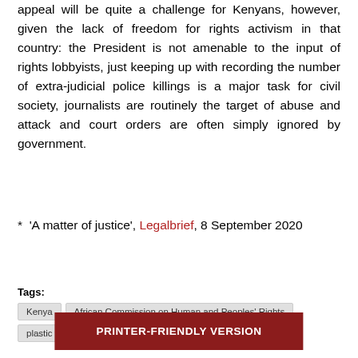appeal will be quite a challenge for Kenyans, however, given the lack of freedom for rights activism in that country: the President is not amenable to the input of rights lobbyists, just keeping up with recording the number of extra-judicial police killings is a major task for civil society, journalists are routinely the target of abuse and attack and court orders are often simply ignored by government.
* 'A matter of justice', Legalbrief, 8 September 2020
Tags: Kenya  African Commission on Human and Peoples' Rights  plastic waste  trade deal
PRINTER-FRIENDLY VERSION